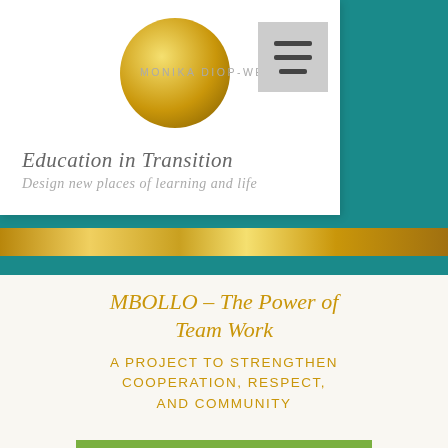MONIKA DIOP-WERNZ
Education in Transition
Design new places of learning and life
MBOLLO – The Power of Team Work
A project to strengthen cooperation, respect, and community
[Figure (photo): Three people sitting on grass, appearing to share food or play a game outdoors]
Phone | Email | Facebook icons